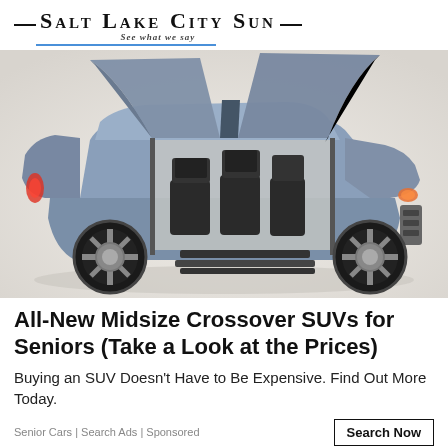Salt Lake City Sun — See what we say
[Figure (photo): A luxury large SUV (Lincoln Navigator concept) with gull-wing doors open and steps extended, showing the interior captain's chairs, photographed in a studio setting against a light background.]
All-New Midsize Crossover SUVs for Seniors (Take a Look at the Prices)
Buying an SUV Doesn't Have to Be Expensive. Find Out More Today.
Senior Cars | Search Ads | Sponsored